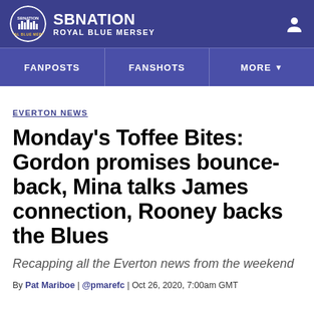SBNation ROYAL BLUE MERSEY
FANPOSTS | FANSHOTS | MORE
EVERTON NEWS
Monday's Toffee Bites: Gordon promises bounce-back, Mina talks James connection, Rooney backs the Blues
Recapping all the Everton news from the weekend
By Pat Mariboe | @pmarefc | Oct 26, 2020, 7:00am GMT